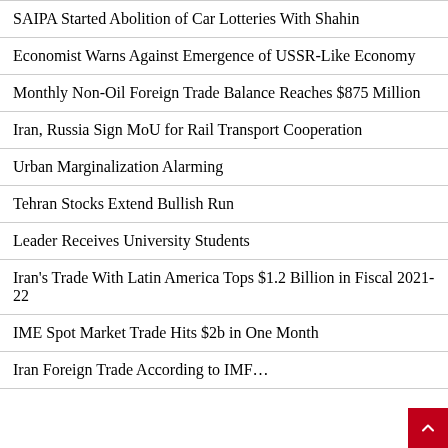SAIPA Started Abolition of Car Lotteries With Shahin
Economist Warns Against Emergence of USSR-Like Economy
Monthly Non-Oil Foreign Trade Balance Reaches $875 Million
Iran, Russia Sign MoU for Rail Transport Cooperation
Urban Marginalization Alarming
Tehran Stocks Extend Bullish Run
Leader Receives University Students
Iran's Trade With Latin America Tops $1.2 Billion in Fiscal 2021-22
IME Spot Market Trade Hits $2b in One Month
Iran Foreign Trade According to IMF…